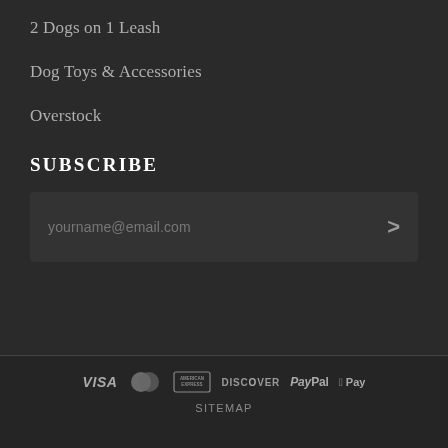2 Dogs on 1 Leash
Dog Toys & Accessories
Overstock
SUBSCRIBE
yourname@email.com
[Figure (other): Payment method logos: VISA, MasterCard, American Express, Discover, PayPal, Apple Pay]
SITEMAP